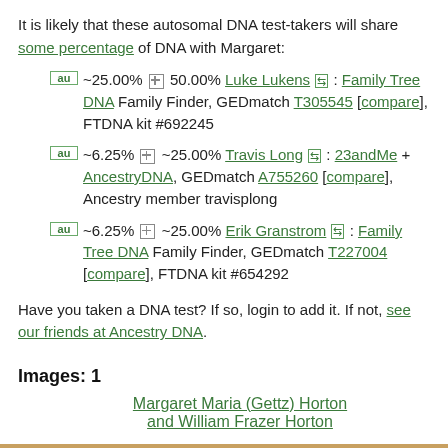It is likely that these autosomal DNA test-takers will share some percentage of DNA with Margaret:
~25.00% ⊠ 50.00% Luke Lukens ⇄ : Family Tree DNA Family Finder, GEDmatch T305545 [compare], FTDNA kit #692245
~6.25% ⊠ ~25.00% Travis Long ⇄ : 23andMe + AncestryDNA, GEDmatch A755260 [compare], Ancestry member travisplong
~6.25% ⊠ ~25.00% Erik Granstrom ⇄ : Family Tree DNA Family Finder, GEDmatch T227004 [compare], FTDNA kit #654292
Have you taken a DNA test? If so, login to add it. If not, see our friends at Ancestry DNA.
Images: 1
Margaret Maria (Gettz) Horton and William Frazer Horton